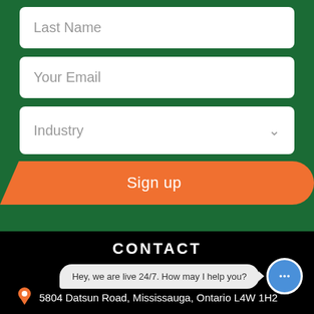Last Name
Your Email
Industry
Sign up
CONTACT
Hey, we are live 24/7. How may I help you?
5804 Datsun Road, Mississauga, Ontario L4W 1H2